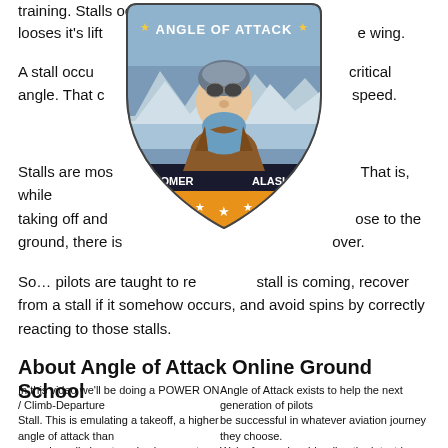training. Stalls occur when the wing looses it's lift over the wing.
[Figure (logo): Angle of Attack logo featuring a pilot with aviator goggles, mountains and water in background, Homer Alaska text, orange stars]
A stall occurs when the wing exceeds its critical angle. That critical angle is independent of speed.
Stalls are most dangerous at low altitudes. That is, while taking off and landing, when the aircraft is close to the ground, there is not enough altitude to recover.
So… pilots are taught to recognize a stall is coming, recover from a stall if it somehow occurs, and avoid spins by correctly reacting to those stalls.
About Angle of Attack Online Ground School
In this video we'll be doing a POWER ON / Climb-Departure Stall. This is emulating a takeoff, a higher angle of attack than normal on climb-out, and subsequent stall. What makes this stall more difficult (in my opinion) is the left turning tendencies of the engine (and thus propellor) and need for a
Angle of Attack exists to help the next generation of pilots be successful in whatever aviation journey they choose. We're focused on blending the latest in learning technology, visual learning, and modern flight techniques to make our students online ground school training and study time